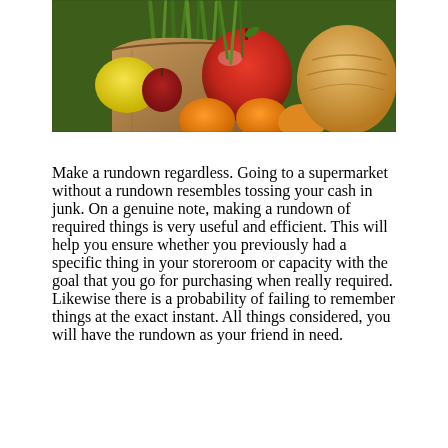[Figure (photo): A brown paper grocery bag filled with fresh fruits and vegetables including a large red apple, red and yellow plums, oranges/tangerines, green onions/scallions, and a loaf of bread, photographed close up.]
Make a rundown regardless. Going to a supermarket without a rundown resembles tossing your cash in junk. On a genuine note, making a rundown of required things is very useful and efficient. This will help you ensure whether you previously had a specific thing in your storeroom or capacity with the goal that you go for purchasing when really required. Likewise there is a probability of failing to remember things at the exact instant. All things considered, you will have the rundown as your friend in need.